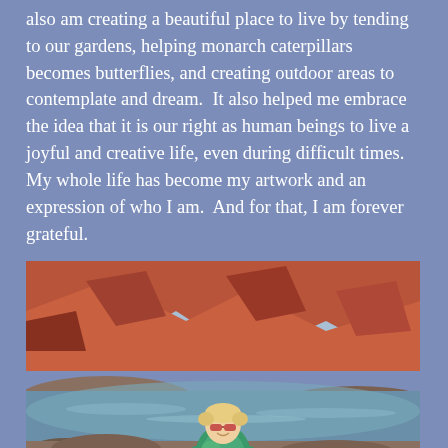also am creating a beautiful place to live by tending to our gardens, helping monarch caterpillars becomes butterflies, and creating outdoor areas to contemplate and dream.  It also helped me embrace the idea that it is our right as human beings to live a joyful and creative life, even during difficult times. My whole life has become my artwork and an expression of who I am.  And for that, I am forever grateful.
[Figure (photo): A woman with short blonde hair and sunglasses wearing a colorful tie-dye shirt, standing near a river with red rock canyon formations in the background under a blue sky.]